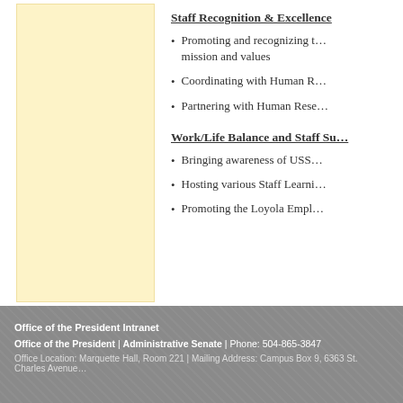Staff Recognition & Excellence
Promoting and recognizing those who embody the mission and values
Coordinating with Human R…
Partnering with Human Rese…
Work/Life Balance and Staff Su…
Bringing awareness of USS…
Hosting various Staff Learni…
Promoting the Loyola Empl…
Office of the President Intranet
Office of the President | Administrative Senate | Phone: 504-865-3847
Office Location: Marquette Hall, Room 221 | Mailing Address: Campus Box 9, 6363 St. Charles Avenue…